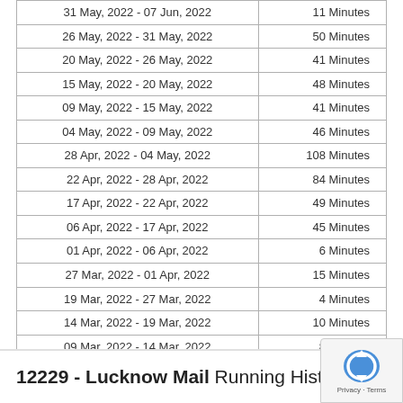| Date Range | Duration |
| --- | --- |
| 31 May, 2022 - 07 Jun, 2022 | 11 Minutes |
| 26 May, 2022 - 31 May, 2022 | 50 Minutes |
| 20 May, 2022 - 26 May, 2022 | 41 Minutes |
| 15 May, 2022 - 20 May, 2022 | 48 Minutes |
| 09 May, 2022 - 15 May, 2022 | 41 Minutes |
| 04 May, 2022 - 09 May, 2022 | 46 Minutes |
| 28 Apr, 2022 - 04 May, 2022 | 108 Minutes |
| 22 Apr, 2022 - 28 Apr, 2022 | 84 Minutes |
| 17 Apr, 2022 - 22 Apr, 2022 | 49 Minutes |
| 06 Apr, 2022 - 17 Apr, 2022 | 45 Minutes |
| 01 Apr, 2022 - 06 Apr, 2022 | 6 Minutes |
| 27 Mar, 2022 - 01 Apr, 2022 | 15 Minutes |
| 19 Mar, 2022 - 27 Mar, 2022 | 4 Minutes |
| 14 Mar, 2022 - 19 Mar, 2022 | 10 Minutes |
| 09 Mar, 2022 - 14 Mar, 2022 | 8 Minutes |
| 28 Feb, 2022 - 09 Mar, 2022 | 11 Minutes |
| 22 Feb, 2022 - 28 Feb, 2022 | 32 Minutes |
| 22 Feb, 2022 | 7 Minutes |
Stats Date range: 22 Feb, 2022 to 20 Aug, 2022
12229 - Lucknow Mail Running History